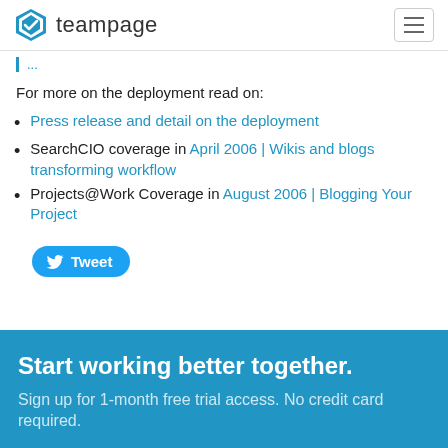teampage
For more on the deployment read on:
Press release and detail on the deployment
SearchCIO coverage in April 2006 | Wikis and blogs transforming workflow
Projects@Work Coverage in August 2006 | Blogging Your Project
Tweet
Start working better together.
Sign up for 1-month free trial access. No credit card required.